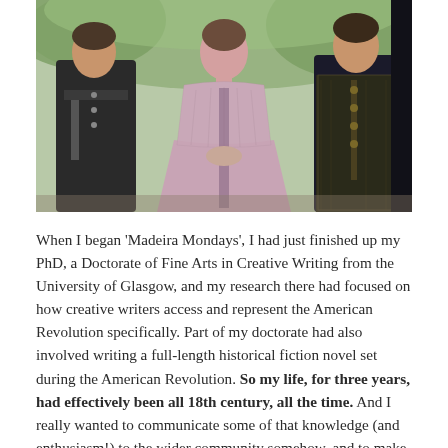[Figure (photo): A photograph of three people in 18th-century period costumes standing together outdoors. The central figure wears a large pink/mauve brocade gown. The figures on either side wear dark period-appropriate jackets.]
When I began 'Madeira Mondays', I had just finished up my PhD, a Doctorate of Fine Arts in Creative Writing from the University of Glasgow, and my research there had focused on how creative writers access and represent the American Revolution specifically. Part of my doctorate had also involved writing a full-length historical fiction novel set during the American Revolution. So my life, for three years, had effectively been all 18th century, all the time. And I really wanted to communicate some of that knowledge (and enthusiasm!) to the wider community somehow, and to make friends online who were similarly interested in history, books, and generally learning and